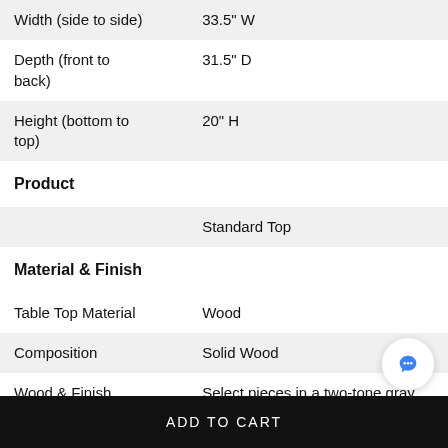|  |  |
| --- | --- |
| Width (side to side) | 33.5" W |
| Depth (front to back) | 31.5" D |
| Height (bottom to top) | 20" H |
| Product |  |
|  | Standard Top |
| Material & Finish |  |
| Table Top Material | Wood |
| Composition | Solid Wood |
| Wood & Finish | Select pieces in a two-tone gray and white finish while other pieces in solid gray |
ADD TO CART